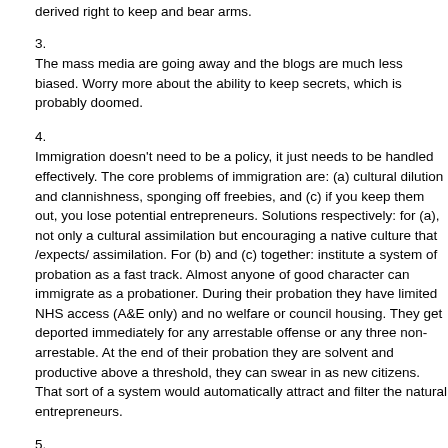derived right to keep and bear arms.
3.
The mass media are going away and the blogs are much less biased. Worry more about the ability to keep secrets, which is probably doomed.
4.
Immigration doesn't need to be a policy, it just needs to be handled effectively. The core problems of immigration are: (a) cultural dilution and clannishness, sponging off freebies, and (c) if you keep them out, you lose potential entrepreneurs. Solutions respectively: for (a), not only a cultural assimilation but encouraging a native culture that /expects/ assimilation. For (b) and (c) together: institute a system of probation as a fast track. Almost anyone of good character can immigrate as a probationer. During their probation they have limited NHS access (A&E only) and no welfare or council housing. They get deported immediately for any arrestable offense or any three non-arrestable. At the end of their probation they are solvent and productive above a threshold, they can swear in as new citizens. That sort of a system would automatically attract and filter the natural entrepreneurs.
5.
Yes. Or, more usefully, consider /founding/ and promoting a counter-union of diplomatically allied but totally non-federalised free trading nations. It's both a good idea and a positive policy.
6.